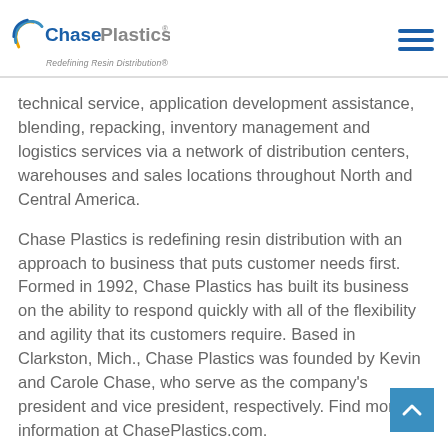Chase Plastics® — Redefining Resin Distribution®
technical service, application development assistance, blending, repacking, inventory management and logistics services via a network of distribution centers, warehouses and sales locations throughout North and Central America.
Chase Plastics is redefining resin distribution with an approach to business that puts customer needs first. Formed in 1992, Chase Plastics has built its business on the ability to respond quickly with all of the flexibility and agility that its customers require. Based in Clarkston, Mich., Chase Plastics was founded by Kevin and Carole Chase, who serve as the company's president and vice president, respectively. Find more information at ChasePlastics.com.